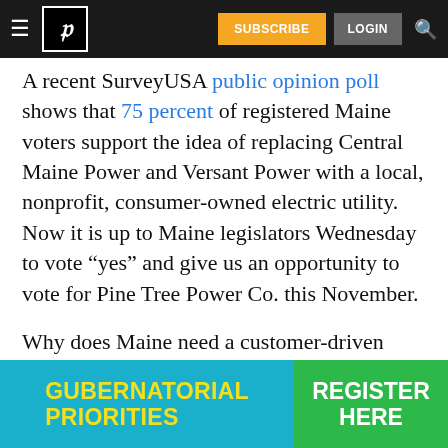Navigation bar with hamburger menu, P logo, SUBSCRIBE button, LOGIN button, search icon
A recent SurveyUSA public opinion poll shows that 75 percent of registered Maine voters support the idea of replacing Central Maine Power and Versant Power with a local, nonprofit, consumer-owned electric utility. Now it is up to Maine legislators Wednesday to vote “yes” and give us an opportunity to vote for Pine Tree Power Co. this November.
Why does Maine need a customer-driven utility? Well, for one thing: Power outages. In my first two years living insident at Maine
[Figure (infographic): Bottom advertisement banner: left side cyan/teal background with yellow bold text reading GUBERNATORIAL PRIORITIES; right side green background with white bold text reading REGISTER HERE]